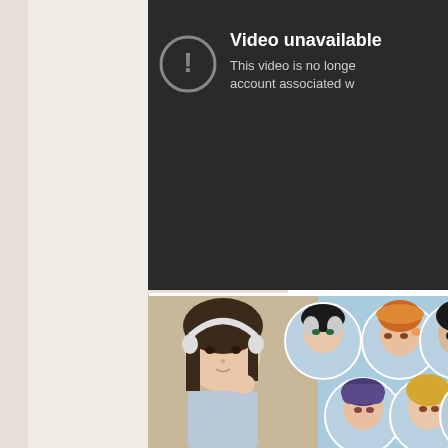[Figure (screenshot): Left sidebar with beige/cream background, showing a browser or app sidebar panel.]
[Figure (screenshot): YouTube-style 'Video unavailable' error screen with dark background, exclamation mark circle icon, text reading 'Video unavailable' and 'This video is no longer available because the account associated w...']
[Figure (photo): Lower section showing a real photo of a Japanese woman with headphones, combined with circular anime character icons on a light blue background.]